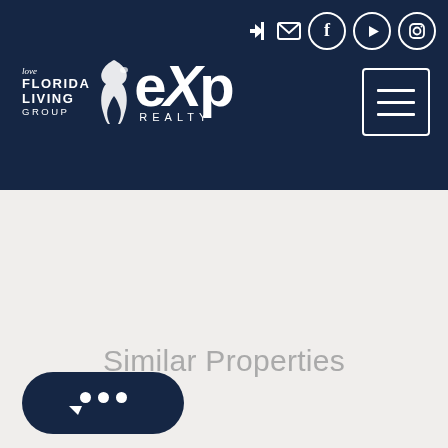Love Florida Living Group | eXp Realty — navigation header with social icons and hamburger menu
[Figure (logo): Love Florida Living Group eXp Realty logo on dark navy header with social icons (login arrow, envelope, Facebook, YouTube, Instagram) and hamburger menu button]
Similar Properties